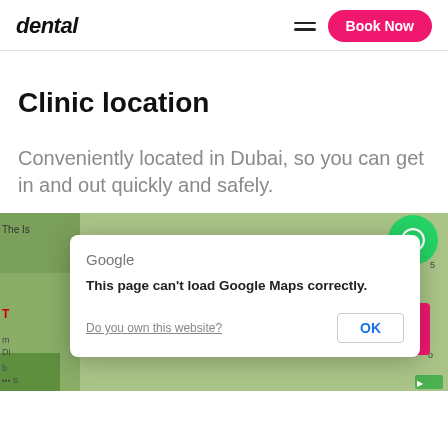dental  Book Now
Clinic location
Conveniently located in Dubai, so you can get in and out quickly and safely.
[Figure (screenshot): Google Maps embed with error dialog. Map shows a location in Dubai. A dialog box overlays the map with the Google logo, the message 'This page can't load Google Maps correctly.', a 'Do you own this website?' link, and an 'OK' button. A WhatsApp floating button (green circle with phone icon) appears top-right.]